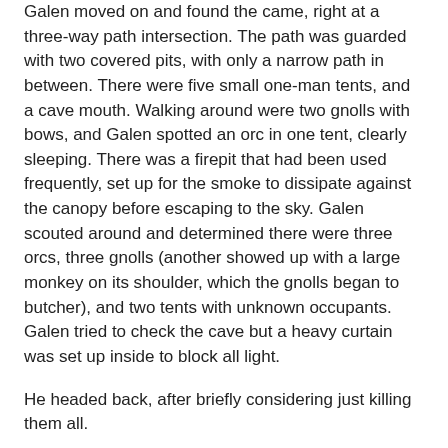Galen moved on and found the came, right at a three-way path intersection. The path was guarded with two covered pits, with only a narrow path in between. There were five small one-man tents, and a cave mouth. Walking around were two gnolls with bows, and Galen spotted an orc in one tent, clearly sleeping. There was a firepit that had been used frequently, set up for the smoke to dissipate against the canopy before escaping to the sky. Galen scouted around and determined there were three orcs, three gnolls (another showed up with a large monkey on its shoulder, which the gnolls began to butcher), and two tents with unknown occupants. Galen tried to check the cave but a heavy curtain was set up inside to block all light.
He headed back, after briefly considering just killing them all.
Once back, he told the others and they geared up and headed out. They left the vegepygmies behind after they said they'd done what was asked showing the group where to go. Galen was given a 30 second lead, and then they followed - all as stealthily as possible. Galen watched the camp and saw the gnolls had posed themselves to guard